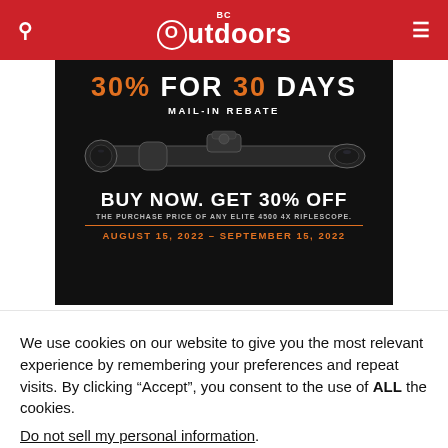BC Outdoors
[Figure (illustration): Advertisement for Bushnell Elite 4500 4x Riflescope. Black background. Top text: '30% FOR 30 DAYS MAIL-IN REBATE' in orange and white. Center image of a black rifle scope. Bottom text: 'BUY NOW. GET 30% OFF THE PURCHASE PRICE OF ANY ELITE 4500 4X RIFLESCOPE. AUGUST 15, 2022 – SEPTEMBER 15, 2022']
We use cookies on our website to give you the most relevant experience by remembering your preferences and repeat visits. By clicking “Accept”, you consent to the use of ALL the cookies.
Do not sell my personal information.
Cookie settings   ACCEPT